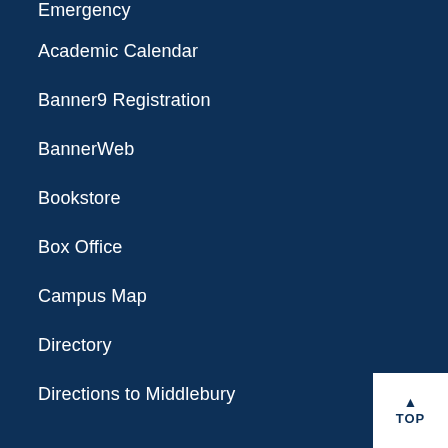Emergency
Academic Calendar
Banner9 Registration
BannerWeb
Bookstore
Box Office
Campus Map
Directory
Directions to Middlebury